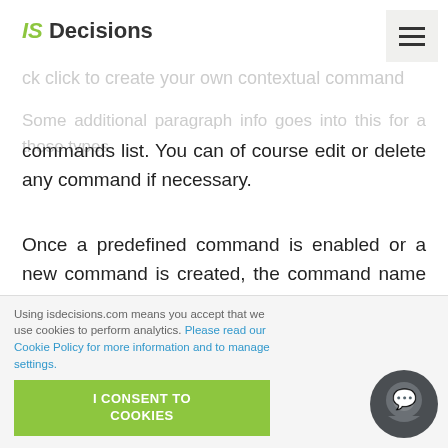IS Decisions
commands list. You can of course edit or delete any command if necessary.
Once a predefined command is enabled or a new command is created, the command name is automatically added to the context menu and the Quick access panel of the UserLock User sessions view and Agent distribution view.
Select the computers you want to target and with a right click,
Using isdecisions.com means you accept that we use cookies to perform analytics. Please read our Cookie Policy for more information and to manage settings.
I CONSENT TO COOKIES